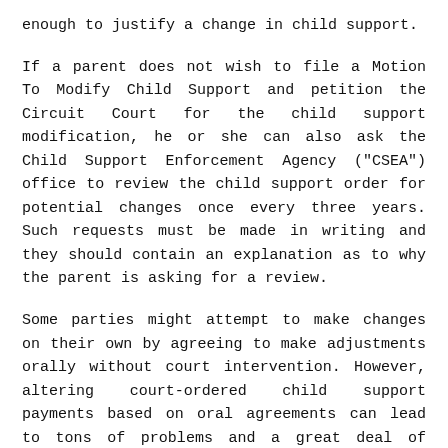enough to justify a change in child support.
If a parent does not wish to file a Motion To Modify Child Support and petition the Circuit Court for the child support modification, he or she can also ask the Child Support Enforcement Agency ("CSEA") office to review the child support order for potential changes once every three years. Such requests must be made in writing and they should contain an explanation as to why the parent is asking for a review.
Some parties might attempt to make changes on their own by agreeing to make adjustments orally without court intervention. However, altering court-ordered child support payments based on oral agreements can lead to tons of problems and a great deal of confusion in the future. At the very least, the parties should put whatever agreement is reached in writing so that there is no confusion should something happen at a later date.
If you would like to find out more about seeking a child support modification in Maryland, contact a Baltimore and Towson divorce